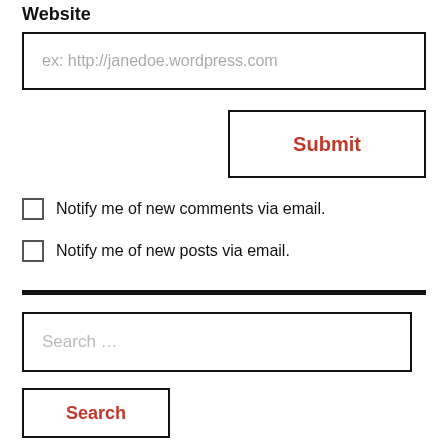Website
[Figure (screenshot): Website text input field with placeholder text 'ex: http://janedoe.wordpress.com']
[Figure (screenshot): Submit button with orange-red text 'Submit' inside a bordered box]
Notify me of new comments via email.
Notify me of new posts via email.
[Figure (screenshot): Search input field with placeholder text 'Search ...']
[Figure (screenshot): Search button with orange-red text 'Search' inside a bordered box]
Recent Posts